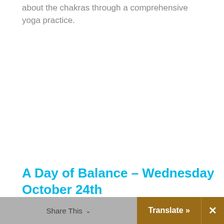about the chakras through a comprehensive yoga practice.
A Day of Balance – Wednesday October 24th
Explore your energy channels